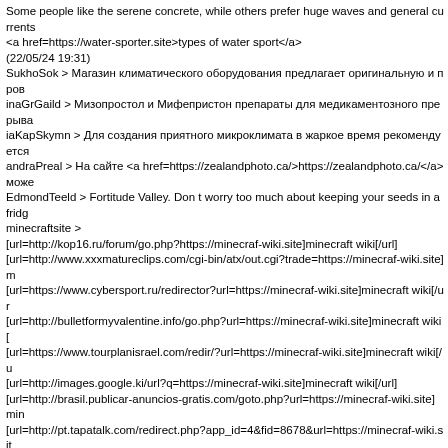Some people like the serene concrete, while others prefer huge waves and general currents <a href=https://water-sporter.site>types of water sport</a> (22/05/24 19:31)
SukhoSok > Магазин климатического оборудования предлагает оригинальную и пров
inaGrGaild > Мизопростол и Мифепристон препараты для медикаментозного прерыва
iaKapSkymn > Для создания приятного микроклимата в жаркое время рекомендуется
andraPreal > На сайте <a href=https://zealandphoto.ca/>https://zealandphoto.ca/</a> може
EdmondTeeld > Fortitude Valley. Don t worry too much about keeping your seeds in a fridg
minecraftsite >
[url=http://kop16.ru/forum/go.php?https://minecraf-wiki.site]minecraft wiki[/url]
[url=http://www.xxxmatureclips.com/cgi-bin/atx/out.cgi?trade=https://minecraf-wiki.site]m
[url=https://www.cybersport.ru/redirector?url=https://minecraf-wiki.site]minecraft wiki[/ur
[url=http://bulletformyvalentine.info/go.php?url=https://minecraf-wiki.site]minecraft wiki[
[url=https://www.tourplanisrael.com/redir/?url=https://minecraf-wiki.site]minecraft wiki[/u
[url=http://images.google.ki/url?q=https://minecraf-wiki.site]minecraft wiki[/url]
[url=http://brasil.publicar-anuncios-gratis.com/goto.php?url=https://minecraf-wiki.site]min
[url=http://pt.tapatalk.com/redirect.php?app_id=4&fid=8678&url=https://minecraf-wiki.sit
[url=http://earnupdates.com/goto.php?url=https://minecraf-wiki.site]minecraft wiki[/url]
[url=https://heaven.porn/te3/out.php?u=https://minecraf-wiki.site]minecraft wiki[/url]
[url=http://gostagay.ru/go?https://minecraf-wiki.site]minecraft wiki[/url]
[url=https://www.google.com.jm/url?sa=t&url=https://minecraf-wiki.site]minecraft wiki[/u
[url=http://www.uniquesexygirls.net/cgi-bin/atc/out.cgi?id=98&u=https://minecraf-wiki.sit
[url=http://johnvorhees.com/gbook/go.php?url=https://minecraf-wiki.site]minecraft wiki[/u
[url=http://www.navi-ohaka.com/rank.cgi?mode=link&id=1&url=https://minecraf-wiki.site
Minecraft (from the English supply - "mine; extract" + know-how - "plane; originate") is a
<a href=https://ibm.com/links/?cc=us&lc=en&prompt=1&url=//minecraf-wiki.site>minecr
<a href=https://images.google.kg/url?q=https://minecraf-wiki.site>minecraft wiki</a>
<a href=https://cityprague.ru/go.php?go=https://minecraf-wiki.site>minecraft wiki</a>
<a href=http://gngjd.com/url?q=https://minecraf-wiki.site>minecraft wiki</a>